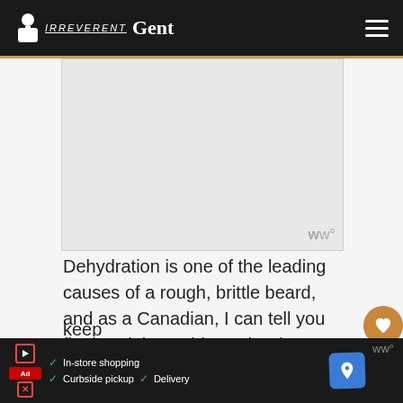Irreverent Gent
[Figure (other): Advertisement placeholder image with watermark logo in bottom right corner]
Dehydration is one of the leading causes of a rough, brittle beard, and as a Canadian, I can tell you firsthand that cold weather is notoriously dry.
So if you want a soft and sexy beard, it’s important to make sure you’re givinv it enough moisture. Again, a
In-store shopping  Curbside pickup  Delivery